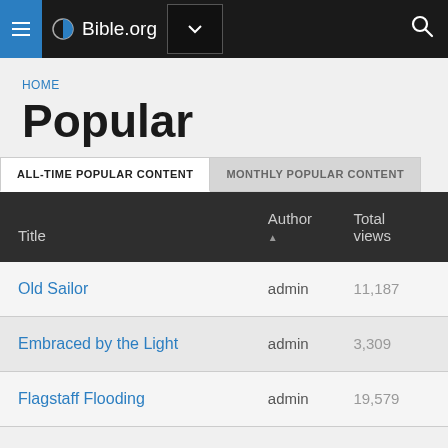Bible.org
HOME
Popular
| Title | Author ▲ | Total views |
| --- | --- | --- |
| Old Sailor | admin | 11,187 |
| Embraced by the Light | admin | 3,309 |
| Flagstaff Flooding | admin | 19,579 |